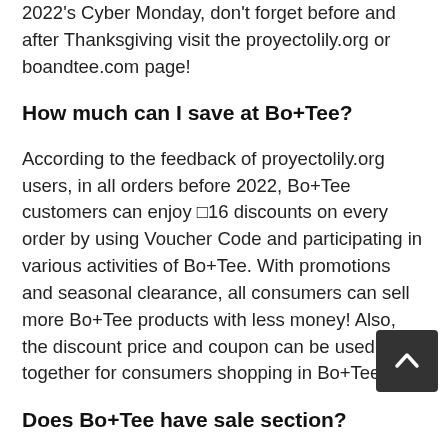2022's Cyber Monday, don't forget before and after Thanksgiving visit the proyectolily.org or boandtee.com page!
How much can I save at Bo+Tee?
According to the feedback of proyectolily.org users, in all orders before 2022, Bo+Tee customers can enjoy □16 discounts on every order by using Voucher Code and participating in various activities of Bo+Tee. With promotions and seasonal clearance, all consumers can sell more Bo+Tee products with less money! Also, the discount price and coupon can be used together for consumers shopping in Bo+Tee!
Does Bo+Tee have sale section?